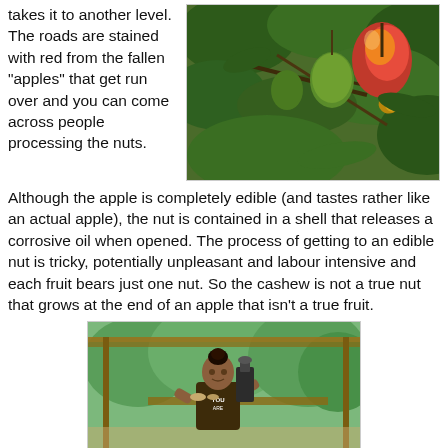takes it to another level. The roads are stained with red from the fallen "apples" that get run over and you can come across people processing the nuts.
[Figure (photo): Close-up photo of cashew fruits (red/orange cashew apples with nuts) on a tree with green leaves]
Although the apple is completely edible (and tastes rather like an actual apple), the nut is contained in a shell that releases a corrosive oil when opened. The process of getting to an edible nut is tricky, potentially unpleasant and labour intensive and each fruit bears just one nut. So the cashew is not a true nut that grows at the end of an apple that isn't a true fruit.
[Figure (photo): A woman processing cashew nuts under a covered outdoor shelter, with green trees in the background. She is wearing a dark shirt that reads "YOU ARE".]